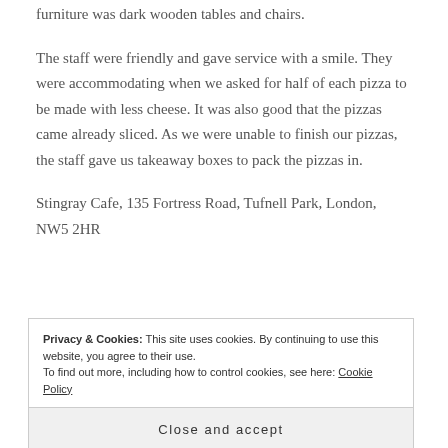furniture was dark wooden tables and chairs.
The staff were friendly and gave service with a smile. They were accommodating when we asked for half of each pizza to be made with less cheese. It was also good that the pizzas came already sliced. As we were unable to finish our pizzas, the staff gave us takeaway boxes to pack the pizzas in.
Stingray Cafe, 135 Fortress Road, Tufnell Park, London, NW5 2HR
Privacy & Cookies: This site uses cookies. By continuing to use this website, you agree to their use. To find out more, including how to control cookies, see here: Cookie Policy
Close and accept